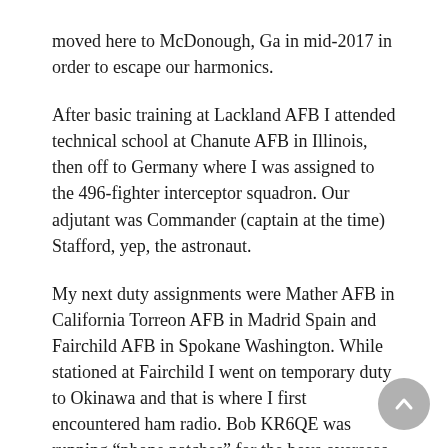moved here to McDonough, Ga in mid-2017 in order to escape our harmonics.
After basic training at Lackland AFB I attended technical school at Chanute AFB in Illinois, then off to Germany where I was assigned to the 496-fighter interceptor squadron. Our adjutant was Commander (captain at the time) Stafford, yep, the astronaut.
My next duty assignments were Mather AFB in California Torreon AFB in Madrid Spain and Fairchild AFB in Spokane Washington. While stationed at Fairchild I went on temporary duty to Okinawa and that is where I first encountered ham radio. Bob KR6QE was running “phone patches” for the boys overseas. Boy that looks fascinating, I thought, so on my return stateside I did some investigating into this interesting looking hobby. It wasn’t long before I